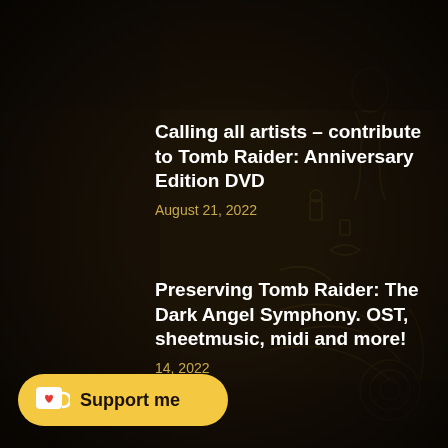Calling all artists – contribute to Tomb Raider: Anniversary Edition DVD
August 21, 2022
Preserving Tomb Raider: The Dark Angel Symphony. OST, sheetmusic, midi and more!
14, 2022
Support me